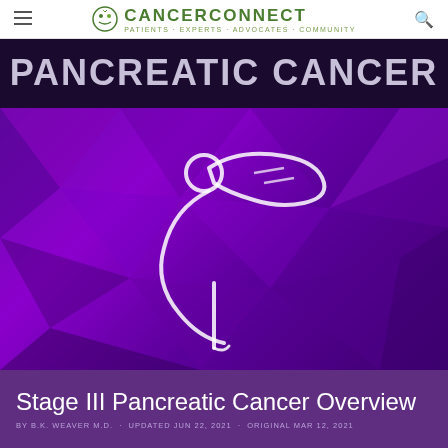CancerConnect — Patients · Experts · Advocates · Community
PANCREATIC CANCER
[Figure (logo): CancerConnect logo illustration: outline figure of person with pancreas organ, white line art on purple polygonal geometric background]
Stage III Pancreatic Cancer Overview
BY B.K. WEAVER M.D. · UPDATED JUN 22, 2021 · ORIGINAL MAR 12, 2021